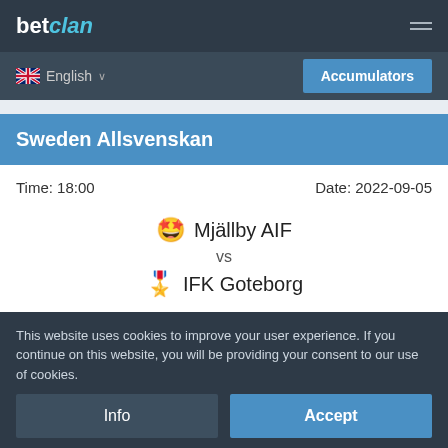betclan
English  Accumulators
Sweden Allsvenskan
Time: 18:00    Date: 2022-09-05
Mjällby AIF vs IFK Goteborg
View Prediction
This website uses cookies to improve your user experience. If you continue on this website, you will be providing your consent to our use of cookies.
Info  Accept